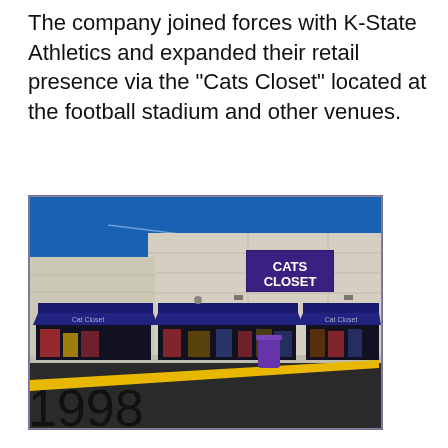The company joined forces with K-State Athletics and expanded their retail presence via the "Cats Closet" located at the football stadium and other venues.
[Figure (photo): Exterior photograph of a Cats Closet retail store building. The building is a modern flat-roofed structure with light tan/cream brick facade. A large sign reads 'CATS CLOSET' in white letters on a dark purple background. The store has multiple dark navy blue awnings over the windows and entrance. A dark road with a yellow stripe is visible in the foreground. The sky is bright blue.]
1998